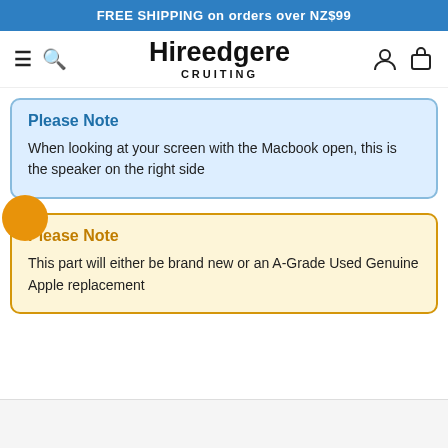FREE SHIPPING on orders over NZ$99
[Figure (logo): Hireedgere CRUITING logo with hamburger menu, search icon, user icon and cart icon]
Please Note
When looking at your screen with the Macbook open, this is the speaker on the right side
Please Note
This part will either be brand new or an A-Grade Used Genuine Apple replacement